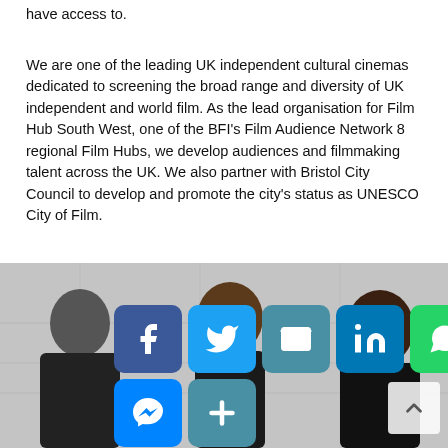have access to.
We are one of the leading UK independent cultural cinemas dedicated to screening the broad range and diversity of UK independent and world film. As the lead organisation for Film Hub South West, one of the BFI's Film Audience Network 8 regional Film Hubs, we develop audiences and filmmaking talent across the UK. We also partner with Bristol City Council to develop and promote the city's status as UNESCO City of Film.
[Figure (photo): Photo of three people (two women and one man with glasses) in front of a mural or wall artwork, overlaid with social media sharing buttons (Facebook, Twitter, Email, LinkedIn, WhatsApp, Messenger, More) and a scroll-to-top button.]